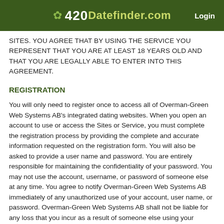420Datefinder.com  Login
Sites. YOU AGREE THAT BY USING THE SERVICE YOU REPRESENT THAT YOU ARE AT LEAST 18 YEARS OLD AND THAT YOU ARE LEGALLY ABLE TO ENTER INTO THIS AGREEMENT.
REGISTRATION
You will only need to register once to access all of Overman-Green Web Systems AB’s integrated dating websites. When you open an account to use or access the Sites or Service, you must complete the registration process by providing the complete and accurate information requested on the registration form. You will also be asked to provide a user name and password. You are entirely responsible for maintaining the confidentiality of your password. You may not use the account, username, or password of someone else at any time. You agree to notify Overman-Green Web Systems AB immediately of any unauthorized use of your account, user name, or password. Overman-Green Web Systems AB shall not be liable for any loss that you incur as a result of someone else using your password, either with or without your knowledge. You may be held liable for any losses incurred by Overman-Green Web Systems AB, any of Overman-Green